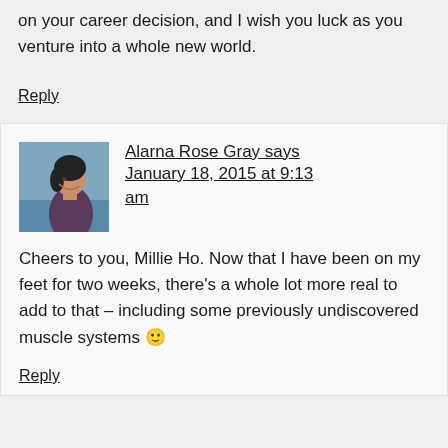on your career decision, and I wish you luck as you venture into a whole new world.
Reply
[Figure (photo): Profile photo of Alarna Rose Gray, a woman looking to the side, outdoors near water]
Alarna Rose Gray says January 18, 2015 at 9:13 am
Cheers to you, Millie Ho. Now that I have been on my feet for two weeks, there's a whole lot more real to add to that – including some previously undiscovered muscle systems 🙂
Reply